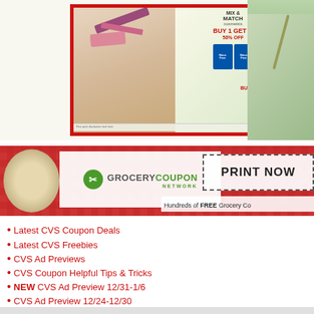[Figure (photo): CVS ad flyer image with cosmetics and BOGO deals, red border, showing Mix & Match cosmetics and Move Free products, with BUY 1 GET 1 FREE text]
[Figure (logo): Grocery Coupon Network banner with PRINT NOW dashed box and 'Hundreds of FREE Grocery Co...' subtitle on red gingham background]
Latest CVS Coupon Deals
Latest CVS Freebies
CVS Ad Previews
CVS Coupon Helpful Tips & Tricks
NEW CVS Ad Preview 12/31-1/6
CVS Ad Preview 12/24-12/30
CVS Coupon Matchups 12/24-12/30
CVS BOGO FREE DEALS 12/24-12/30
CVS Coupon Deals Under $2.00 12/24-12/30